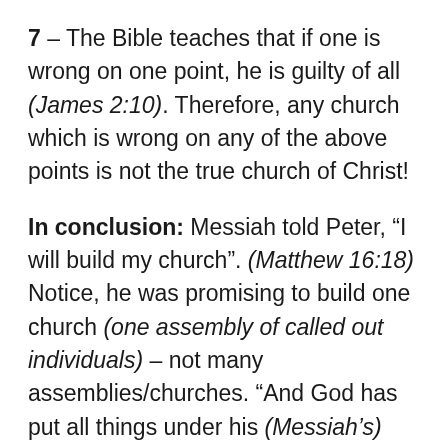7 – The Bible teaches that if one is wrong on one point, he is guilty of all (James 2:10). Therefore, any church which is wrong on any of the above points is not the true church of Christ!
In conclusion: Messiah told Peter, “I will build my church”. (Matthew 16:18) Notice, he was promising to build one church (one assembly of called out individuals) – not many assemblies/churches. “And God has put all things under his (Messiah’s) feet, and gave him to be the head (not a pope) over all things